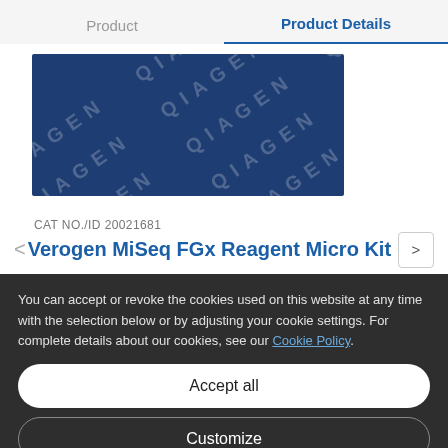Product | Product Details
[Figure (photo): QIAGEN branded product packaging photo with repeated QIAGEN logo pattern on dark blue background]
CAT NO./ID 20021681
Verogen MiSeq FGx Reagent Micro Kit
You can accept or revoke the cookies used on this website at any time with the selection below or by adjusting your cookie settings. For complete details about our cookies, see our Cookie Policy.